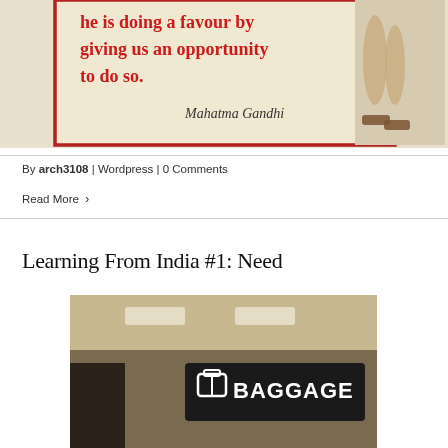[Figure (photo): Cropped bottom portion of a photo showing a poster with red text quoting Mahatma Gandhi: 'he is doing a favour by giving us an opportunity to do so.' with a signature 'Mahatma Gandhi' and legs/sandals visible on the right side.]
By arch3108  |  Wordpress  |  0 Comments
Read More  >
Learning From India #1: Need
[Figure (photo): Sepia-toned photo of an airport interior showing a dark sign with white text and icon reading 'BAGGAGE' with a suitcase icon, ceiling lights visible above.]